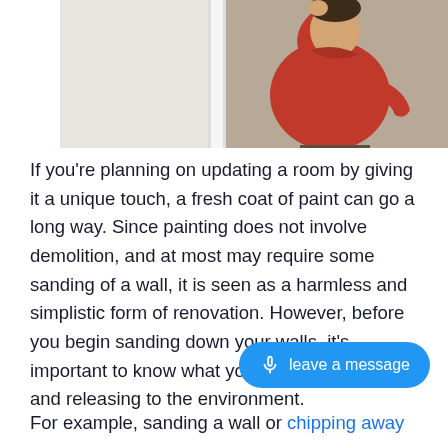[Figure (photo): Person wearing a red hoodie sanding or painting near a white door frame against a beige/brown wall, reaching up with their arm]
If you're planning on updating a room by giving it a unique touch, a fresh coat of paint can go a long way. Since painting does not involve demolition, and at most may require some sanding of a wall, it is seen as a harmless and simplistic form of renovation. However, before you begin sanding down your walls, it's important to know what you might be stirring up and releasing to the environment.
For example, sanding a wall or chipping away